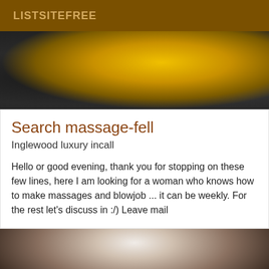LISTSITEFREE
[Figure (photo): Close-up photo of a yellow sports car door/body panel with black accents and a garage/workshop background]
Search massage-fell
Inglewood luxury incall
Hello or good evening, thank you for stopping on these few lines, here I am looking for a woman who knows how to make massages and blowjob ... it can be weekly. For the rest let's discuss in :/) Leave mail
[Figure (photo): Photo showing a person wearing white underwear, lower body visible]